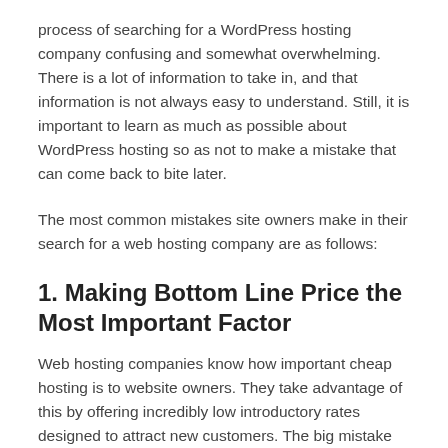process of searching for a WordPress hosting company confusing and somewhat overwhelming. There is a lot of information to take in, and that information is not always easy to understand. Still, it is important to learn as much as possible about WordPress hosting so as not to make a mistake that can come back to bite later.
The most common mistakes site owners make in their search for a web hosting company are as follows:
1. Making Bottom Line Price the Most Important Factor
Web hosting companies know how important cheap hosting is to website owners. They take advantage of this by offering incredibly low introductory rates designed to attract new customers. The big mistake site owners make is focusing primarily on price as the primary driving